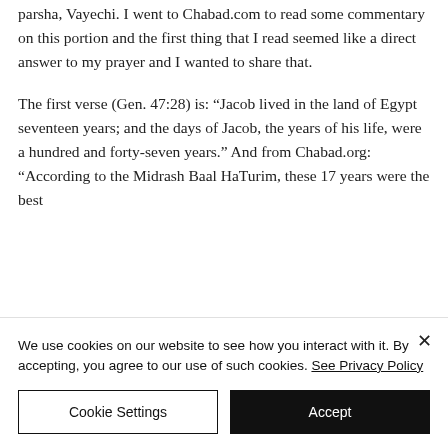parsha, Vayechi. I went to Chabad.com to read some commentary on this portion and the first thing that I read seemed like a direct answer to my prayer and I wanted to share that.
The first verse (Gen. 47:28) is: “Jacob lived in the land of Egypt seventeen years; and the days of Jacob, the years of his life, were a hundred and forty-seven years.” And from Chabad.org: “According to the Midrash Baal HaTurim, these 17 years were the best
We use cookies on our website to see how you interact with it. By accepting, you agree to our use of such cookies. See Privacy Policy
Cookie Settings
Accept